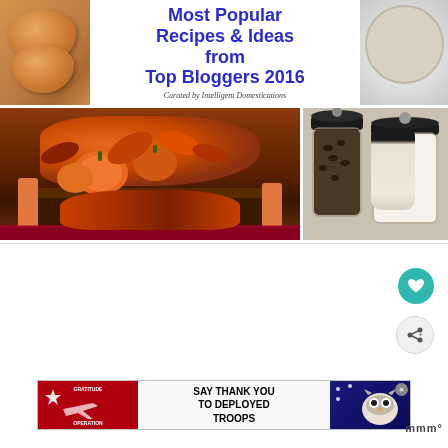[Figure (infographic): Collage banner with food photos on left and right, center text reading 'Most Popular Recipes & Ideas from Top Bloggers 2016 - Curated by Intelligent Domestications']
[Figure (photo): Fall autumn centerpiece with pumpkins, leaves, and candles in a dark wooden box]
[Figure (photo): Glass jars with dark lids containing coffee beans and white sugar/salt]
[Figure (screenshot): White content area placeholder with heart and share buttons on right side]
[Figure (infographic): Operation Gratitude advertisement banner: SAY THANK YOU TO DEPLOYED TROOPS]